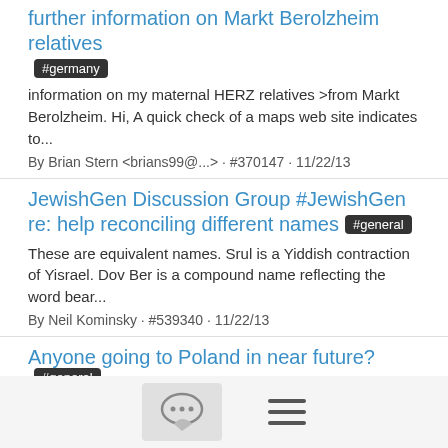further information on Markt Berolzheim relatives
#germany
information on my maternal HERZ relatives >from Markt Berolzheim. Hi, A quick check of a maps web site indicates to...
By Brian Stern <brians99@...> · #370147 · 11/22/13
JewishGen Discussion Group #JewishGen re: help reconciling different names #general
These are equivalent names. Srul is a Yiddish contraction of Yisrael. Dov Ber is a compound name reflecting the word bear...
By Neil Kominsky · #539340 · 11/22/13
Anyone going to Poland in near future? #general
Jewish Records Indexing - Poland has a camera and lens needed by our team in Poland for making scans of special...
By Stanley Diamond · #219026 · 11/22/13
JewishGen Discussion Group #JewishGen Anyone going to Poland in near future? #general